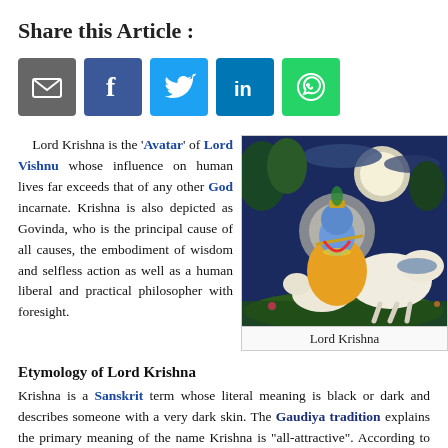Share this Article :
[Figure (infographic): Social media share buttons: email (grey), Facebook (blue), Twitter (light blue), LinkedIn (dark blue), WhatsApp (green)]
Lord Krishna is the 'Avatar' of Lord Vishnu whose influence on human lives far exceeds that of any other God incarnate. Krishna is also depicted as Govinda, who is the principal cause of all causes, the embodiment of wisdom and selfless action as well as a human liberal and practical philosopher with foresight.
[Figure (photo): Painting of Lord Krishna playing flute while seated with cows in a pastoral moonlit scene]
Lord Krishna
Etymology of Lord Krishna
Krishna is a Sanskrit term whose literal meaning is black or dark and describes someone with a very dark skin. The Gaudiya tradition explains the primary meaning of the name Krishna is "all-attractive". According to Adi Sankara's, Krishna is the 57th name of